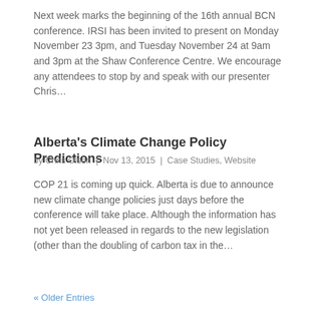Next week marks the beginning of the 16th annual BCN conference. IRSI has been invited to present on Monday November 23 3pm, and Tuesday November 24 at 9am and 3pm at the Shaw Conference Centre. We encourage any attendees to stop by and speak with our presenter Chris…
Alberta's Climate Change Policy Predictions
by Chris Olson  |  Nov 13, 2015  |  Case Studies, Website
COP 21 is coming up quick. Alberta is due to announce new climate change policies just days before the conference will take place. Although the information has not yet been released in regards to the new legislation (other than the doubling of carbon tax in the…
« Older Entries